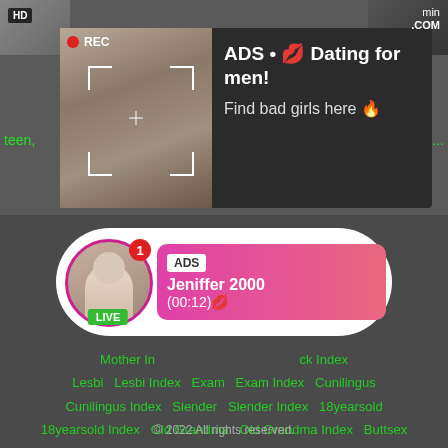[Figure (screenshot): Ad popup with photo of woman taking selfie, REC indicator, focus brackets, and ad text 'ADS • 💋 Dating for men! Find bad girls here 🔥'. Partial green links visible: 'teen.' and 'olic...']
[Figure (screenshot): Notification card with woman avatar, LIVE badge, red badge '1', and pink gradient box showing 'ADS', 'Jeniffer 2000', '(00:12)💋']
Mother I... ck Index  Lesbi  Lesbi Index  Exam  Exam Index  Cunilingus  Cunilingus Index  Slender  Slender Index  18yearsold  18yearsold Index  Old Grandma  Old Grandma Index  Buttsex  Buttsex Index  Milf Blowjob  Milf Blowjob Index
© 2022 All rights reserved.